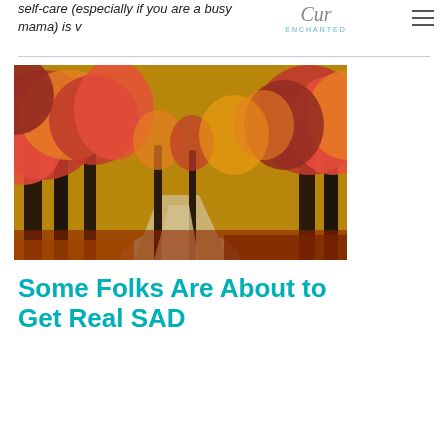self-care (especially if you are a busy mama) is v
[Figure (logo): Cursive script logo with teal 'ENCHANTED' text below]
[Figure (photo): Autumn forest road with bright red and orange leaves on trees lining a winding path, fallen leaves on ground]
Some Folks Are About to Get Real SAD